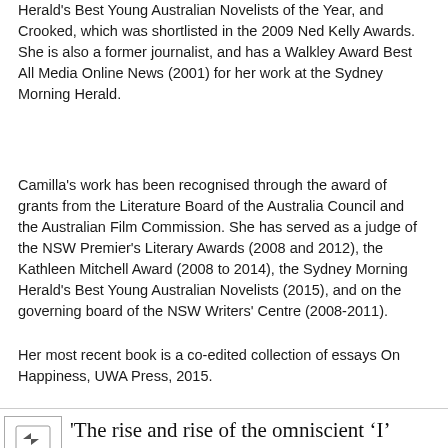Herald's Best Young Australian Novelists of the Year, and Crooked, which was shortlisted in the 2009 Ned Kelly Awards. She is also a former journalist, and has a Walkley Award Best All Media Online News (2001) for her work at the Sydney Morning Herald.
Camilla's work has been recognised through the award of grants from the Literature Board of the Australia Council and the Australian Film Commission. She has served as a judge of the NSW Premier's Literary Awards (2008 and 2012), the Kathleen Mitchell Award (2008 to 2014), the Sydney Morning Herald's Best Young Australian Novelists (2015), and on the governing board of the NSW Writers' Centre (2008-2011).
Her most recent book is a co-edited collection of essays On Happiness, UWA Press, 2015.
'The rise and rise of the omniscient 'I'